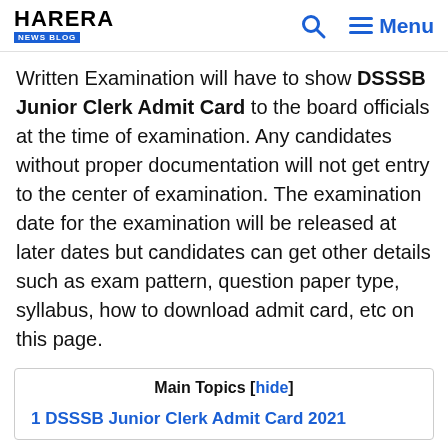HARERA NEWS BLOG | Search | Menu
Written Examination will have to show DSSSB Junior Clerk Admit Card to the board officials at the time of examination. Any candidates without proper documentation will not get entry to the center of examination. The examination date for the examination will be released at later dates but candidates can get other details such as exam pattern, question paper type, syllabus, how to download admit card, etc on this page.
Main Topics [hide]
1 DSSSB Junior Clerk Admit Card 2021